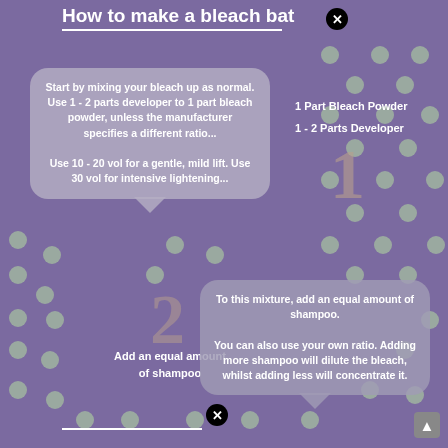How to make a bleach bath
Start by mixing your bleach up as normal. Use 1 - 2 parts developer to 1 part bleach powder, unless the manufacturer specifies a different ratio... Use 10 - 20 vol for a gentle, mild lift. Use 30 vol for intensive lightening...
1 Part Bleach Powder
1 - 2 Parts Developer
To this mixture, add an equal amount of shampoo. You can also use your own ratio. Adding more shampoo will dilute the bleach, whilst adding less will concentrate it.
Add an equal amount of shampoo